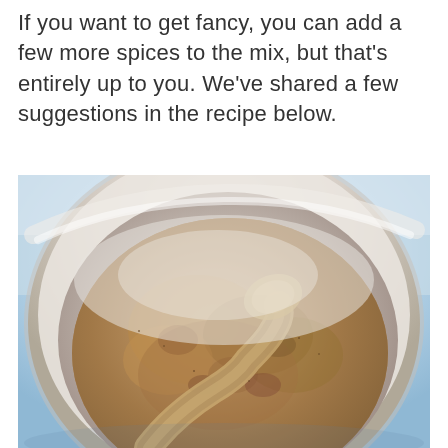If you want to get fancy, you can add a few more spices to the mix, but that's entirely up to you. We've shared a few suggestions in the recipe below.
[Figure (photo): Close-up overhead photo of a bowl containing brown spice powder blend with a wooden spoon partially visible, set against a light blue background.]